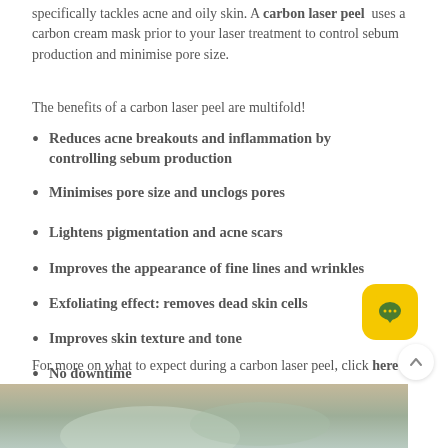specifically tackles acne and oily skin. A carbon laser peel uses a carbon cream mask prior to your laser treatment to control sebum production and minimise pore size.
The benefits of a carbon laser peel are multifold!
Reduces acne breakouts and inflammation by controlling sebum production
Minimises pore size and unclogs pores
Lightens pigmentation and acne scars
Improves the appearance of fine lines and wrinkles
Exfoliating effect: removes dead skin cells
Improves skin texture and tone
No downtime
For more on what to expect during a carbon laser peel, click here
[Figure (photo): Photo of a hand with blue glove applying cream or laser treatment to skin]